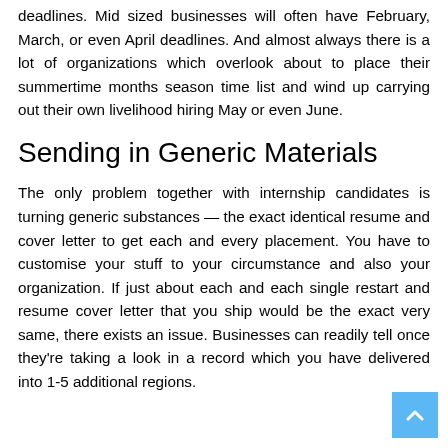deadlines. Mid sized businesses will often have February, March, or even April deadlines. And almost always there is a lot of organizations which overlook about to place their summertime months season time list and wind up carrying out their own livelihood hiring May or even June.
Sending in Generic Materials
The only problem together with internship candidates is turning generic substances — the exact identical resume and cover letter to get each and every placement. You have to customise your stuff to your circumstance and also your organization. If just about each and each single restart and resume cover letter that you ship would be the exact very same, there exists an issue. Businesses can readily tell once they're taking a look in a record which you have delivered into 1-5 additional regions.